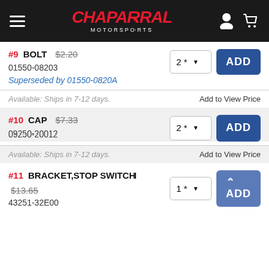Chaparral Motorsports
#9 BOLT $2.20 01550-08203 Superseded by 01550-0820A Available: Ships in 7-12 days. Add to View Price
#10 CAP $7.33 09250-20012 Available: Ships in 7-12 days. Add to View Price
#11 BRACKET,STOP SWITCH $13.65 43251-32E00